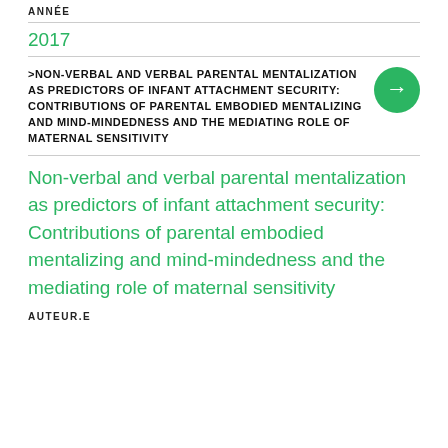ANNÉE
2017
>NON-VERBAL AND VERBAL PARENTAL MENTALIZATION AS PREDICTORS OF INFANT ATTACHMENT SECURITY: CONTRIBUTIONS OF PARENTAL EMBODIED MENTALIZING AND MIND-MINDEDNESS AND THE MEDIATING ROLE OF MATERNAL SENSITIVITY
Non-verbal and verbal parental mentalization as predictors of infant attachment security: Contributions of parental embodied mentalizing and mind-mindedness and the mediating role of maternal sensitivity
AUTEUR.E